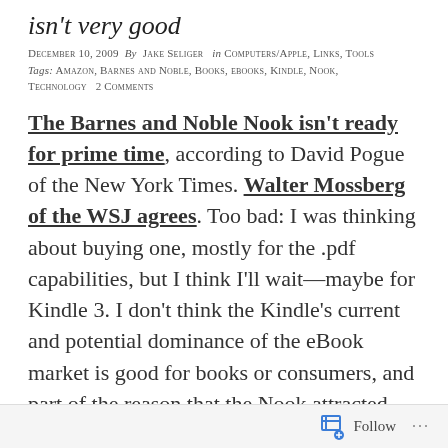isn't very good
December 10, 2009  By  Jake Seliger   in  Computers/Apple, Links, Tools  Tags: Amazon, Barnes and Noble, Books, ebooks, Kindle, Nook, Technology  2 Comments
The Barnes and Noble Nook isn't ready for prime time, according to David Pogue of the New York Times. Walter Mossberg of the WSJ agrees. Too bad: I was thinking about buying one, mostly for the .pdf capabilities, but I think I'll wait—maybe for Kindle 3. I don't think the Kindle's current and potential dominance of the eBook market is good for books or consumers, and part of the reason that the Nook attracted me is precisely because it represents a real competitor to the Kindle. But these reviews indicate that the Nook was either rushed to market or poorly tested.
Follow ...